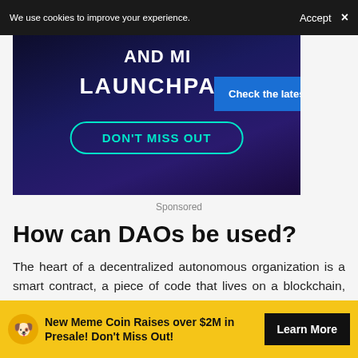We use cookies to improve your experience. Accept ×
[Figure (screenshot): Dark blue/purple NFT launchpad advertisement banner showing text 'AND MI LAUNCHPAD' with a 'DON'T MISS OUT' button and a 'Check the latest NFT' blue bubble overlay]
Sponsored
How can DAOs be used?
The heart of a decentralized autonomous organization is a smart contract, a piece of code that lives on a blockchain, executing certain actions when some conditions are met.
New Meme Coin Raises over $2M in Presale! Don't Miss Out! Learn More